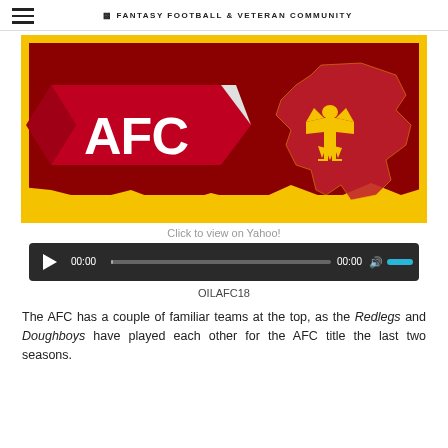FANTASY FOOTBALL & VETERAN COMMUNITY
[Figure (illustration): AFC banner logo on a dark red/maroon background with a golden jagged border. The left side shows a red ribbon banner with white bold text 'AFC'. The right side shows the map of Iraq in red with a golden thunderbird/eagle emblem.]
Click to view on Yahoo!
[Figure (other): Audio player bar with play button, 00:00 time, progress bar, 00:00 end time, volume icon, and blue volume slider on a dark background.]
OILAFC18
The AFC has a couple of familiar teams at the top, as the Redlegs and Doughboys have played each other for the AFC title the last two seasons.